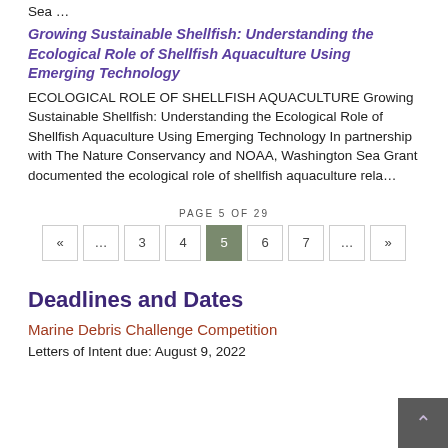Sea …
Growing Sustainable Shellfish: Understanding the Ecological Role of Shellfish Aquaculture Using Emerging Technology
ECOLOGICAL ROLE OF SHELLFISH AQUACULTURE Growing Sustainable Shellfish: Understanding the Ecological Role of Shellfish Aquaculture Using Emerging Technology In partnership with The Nature Conservancy and NOAA, Washington Sea Grant documented the ecological role of shellfish aquaculture rela…
PAGE 5 OF 29
« … 3 4 5 6 7 … »
Deadlines and Dates
Marine Debris Challenge Competition
Letters of Intent due: August 9, 2022